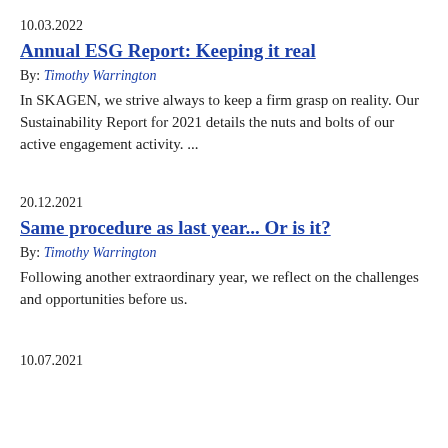10.03.2022
Annual ESG Report: Keeping it real
By: Timothy Warrington
In SKAGEN, we strive always to keep a firm grasp on reality. Our Sustainability Report for 2021 details the nuts and bolts of our active engagement activity. ...
20.12.2021
Same procedure as last year... Or is it?
By: Timothy Warrington
Following another extraordinary year, we reflect on the challenges and opportunities before us.
10.07.2021